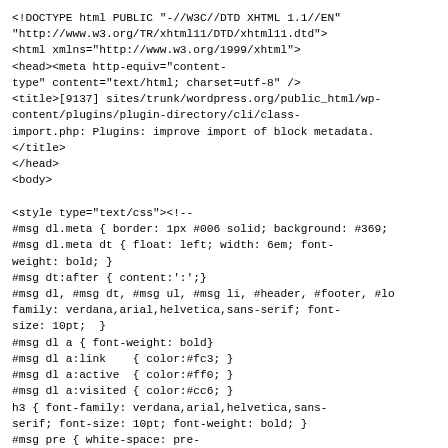<!DOCTYPE html PUBLIC "-//W3C//DTD XHTML 1.1//EN"
"http://www.w3.org/TR/xhtml11/DTD/xhtml11.dtd">
<html xmlns="http://www.w3.org/1999/xhtml">
<head><meta http-equiv="content-type" content="text/html; charset=utf-8" />
<title>[9137] sites/trunk/wordpress.org/public_html/wp-content/plugins/plugin-directory/cli/class-import.php: Plugins: improve import of block metadata.
</title>
</head>
<body>

<style type="text/css"><!--
#msg dl.meta { border: 1px #006 solid; background: #369;
#msg dl.meta dt { float: left; width: 6em; font-weight: bold; }
#msg dt:after { content:':';}
#msg dl, #msg dt, #msg ul, #msg li, #header, #footer, #lo
family: verdana,arial,helvetica,sans-serif; font-size: 10pt;  }
#msg dl a { font-weight: bold}
#msg dl a:link    { color:#fc3; }
#msg dl a:active  { color:#ff0; }
#msg dl a:visited { color:#cc6; }
h3 { font-family: verdana,arial,helvetica,sans-serif; font-size: 10pt; font-weight: bold; }
#msg pre { white-space: pre-line; overflow: auto; background: #ffc; border: 1px #fa0
#logmsg { background: #ffc; border: 1px #fa0 solid; paddi
#logmsg p, #logmsg pre, #logmsg blockquote { margin: 0 0